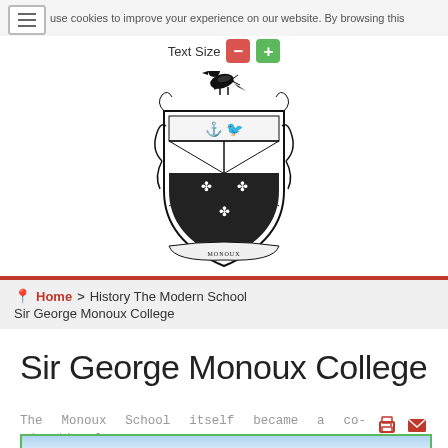use cookies to improve your experience on our website. By browsing this
Text Size
[Figure (logo): Sir George Monoux College heraldic crest/coat of arms with a bird on top and shield below]
Home > History The Modern School Sir George Monoux College
Sir George Monoux College
The Monoux School itself became a co-educational